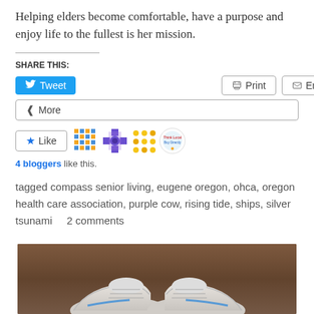Helping elders become comfortable, have a purpose and enjoy life to the fullest is her mission.
SHARE THIS:
Tweet  Print  Email  More
Like  [avatars]
4 bloggers like this.
tagged compass senior living, eugene oregon, ohca, oregon health care association, purple cow, rising tide, ships, silver tsunami    2 comments
[Figure (photo): Close-up photograph of white sneakers/shoes viewed from above on a wooden surface]